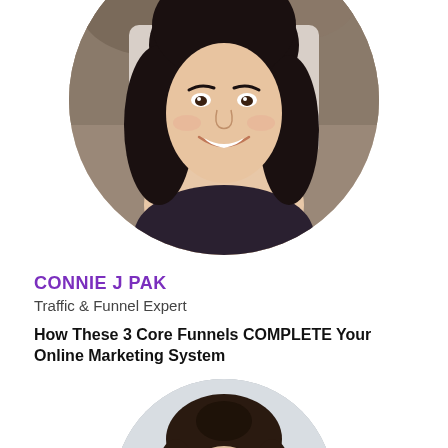[Figure (photo): Circular cropped headshot photo of Connie J Pak, a woman with long dark hair, smiling, photographed outdoors with a rocky background]
CONNIE J PAK
Traffic & Funnel Expert
How These 3 Core Funnels COMPLETE Your Online Marketing System
[Figure (photo): Circular cropped headshot photo of another person, partially visible at the bottom of the page, with dark hair pulled back, light background]